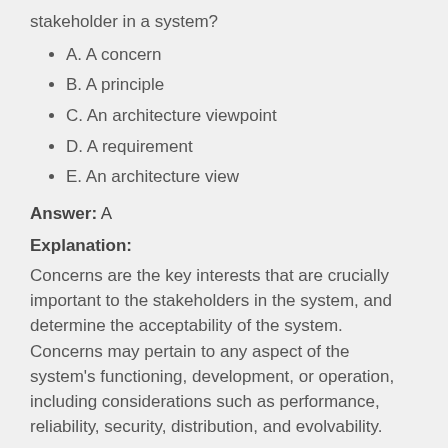stakeholder in a system?
A. A concern
B. A principle
C. An architecture viewpoint
D. A requirement
E. An architecture view
Answer: A
Explanation:
Concerns are the key interests that are crucially important to the stakeholders in the system, and determine the acceptability of the system. Concerns may pertain to any aspect of the system's functioning, development, or operation, including considerations such as performance, reliability, security, distribution, and evolvability.
Reference http://pubs.opengroup.org/architecture/togaf8-doc/arch/chap31.html